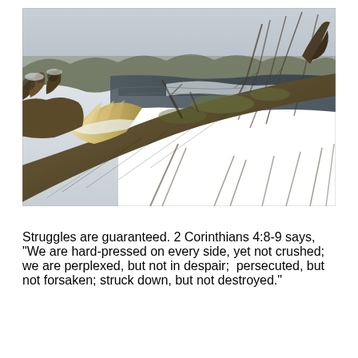[Figure (photo): A fallen tree with splintered wood and exposed roots in a winter scene. Snow covers the ground and a dark river or creek is visible in the background. Bare branches and brush surround the fallen tree. The scene is cold and stark with muted browns, tans, and whites.]
Struggles are guaranteed. 2 Corinthians 4:8-9 says, "We are hard-pressed on every side, yet not crushed; we are perplexed, but not in despair; persecuted, but not forsaken; struck down, but not destroyed."